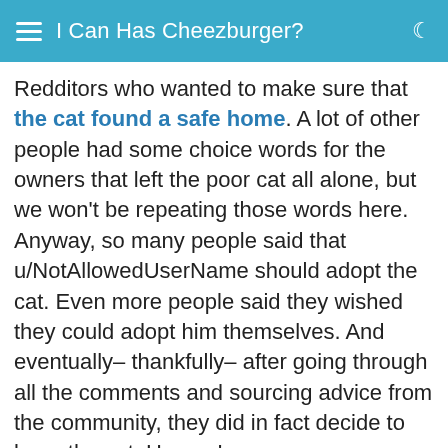I Can Has Cheezburger?
Redditors who wanted to make sure that the cat found a safe home. A lot of other people had some choice words for the owners that left the poor cat all alone, but we won't be repeating those words here. Anyway, so many people said that u/NotAllowedUserName should adopt the cat. Even more people said they wished they could adopt him themselves. And eventually– thankfully– after going through all the comments and sourcing advice from the community, they did in fact decide to keep the cat. Hooray!
So, after a few weeks of finalizing the move, it sounds like this adorable boy has vet appointments, a new home, and soon will have a new sibling to play with too! These new owners now just have to introduce